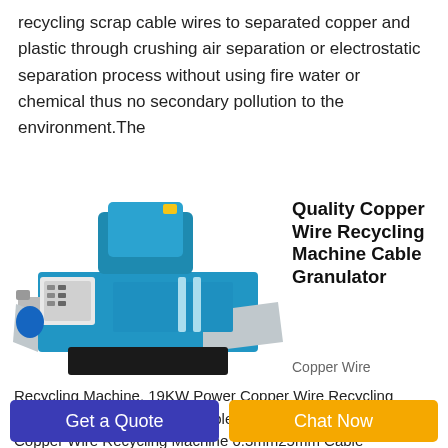recycling scrap cable wires to separated copper and plastic through crushing air separation or electrostatic separation process without using fire water or chemical thus no secondary pollution to the environment.The
[Figure (photo): Blue copper wire recycling machine / cable granulator with control panel, blue body, and metal extensions on the sides.]
Quality Copper Wire Recycling Machine Cable Granulator
Copper Wire Recycling Machine. 19KW Power Copper Wire Recycling Machine Highly Automatic Stable Performance. High Purity Copper Wire Recycling Machine 0.3mm25mm Cable
Get a Quote
Chat Now